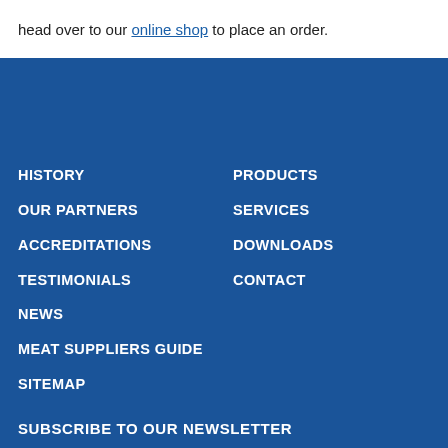head over to our online shop to place an order.
HISTORY
OUR PARTNERS
ACCREDITATIONS
TESTIMONIALS
NEWS
MEAT SUPPLIERS GUIDE
SITEMAP
PRODUCTS
SERVICES
DOWNLOADS
CONTACT
SUBSCRIBE TO OUR NEWSLETTER